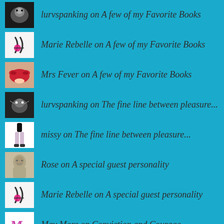lurvspanking on A few of my Favorite Books
Marie Rebelle on A few of my Favorite Books
Mrs Fever on A few of my Favorite Books
lurvspanking on The fine line between pleasure...
missy on The fine line between pleasure...
Rose on A special guest personality
Marie Rebelle on A special guest personality
May More on Conviction and Courage